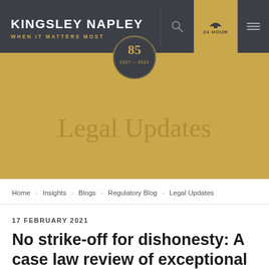KINGSLEY NAPLEY — WHEN IT MATTERS MOST — 24 HOUR
[Figure (logo): Kingsley Napley logo with 85th anniversary badge (1937-2022), circle badge on gold background]
Legal Updates
Home › Insights › Blogs › Regulatory Blog › Legal Updates
17 FEBRUARY 2021
No strike-off for dishonesty: A case law review of exceptional circumstances